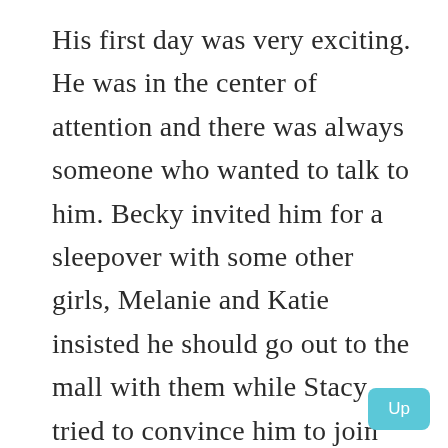His first day was very exciting. He was in the center of attention and there was always someone who wanted to talk to him. Becky invited him for a sleepover with some other girls, Melanie and Katie insisted he should go out to the mall with them while Stacy tried to convince him to join the cheerleader squad. There was even this boy, Alan who asked him out to see a movie together. Mike was so happy that day. He couldn't wait to get back home and tell his mom about it all. He was also hoping that his mom will help him to choose a cute dress for his